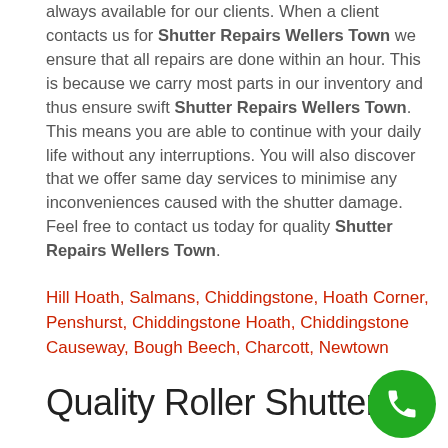always available for our clients. When a client contacts us for Shutter Repairs Wellers Town we ensure that all repairs are done within an hour. This is because we carry most parts in our inventory and thus ensure swift Shutter Repairs Wellers Town. This means you are able to continue with your daily life without any interruptions. You will also discover that we offer same day services to minimise any inconveniences caused with the shutter damage. Feel free to contact us today for quality Shutter Repairs Wellers Town.
Hill Hoath, Salmans, Chiddingstone, Hoath Corner, Penshurst, Chiddingstone Hoath, Chiddingstone Causeway, Bough Beech, Charcott, Newtown
Quality Roller Shutter
[Figure (other): Green circular phone call button icon in bottom right corner]